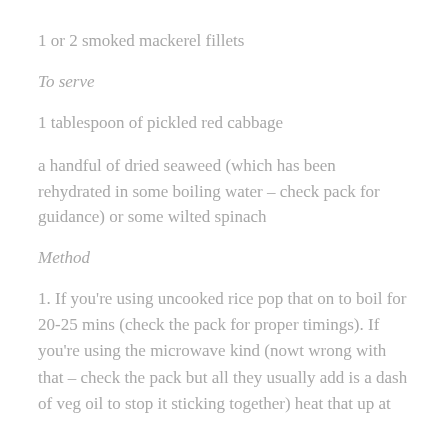1 or 2 smoked mackerel fillets
To serve
1 tablespoon of pickled red cabbage
a handful of dried seaweed (which has been rehydrated in some boiling water – check pack for guidance) or some wilted spinach
Method
1. If you're using uncooked rice pop that on to boil for 20-25 mins (check the pack for proper timings). If you're using the microwave kind (nowt wrong with that – check the pack but all they usually add is a dash of veg oil to stop it sticking together) heat that up at